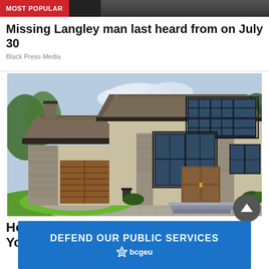MOST POPULAR
Missing Langley man last heard from on July 30
Black Press Media
[Figure (photo): A modern two-storey luxury house with stone accents, brown roof, large windows, a two-car garage with wooden doors, and a paved circular driveway with green lawn]
How Much Is My House Worth? Check Your
[Figure (infographic): Blue banner advertisement reading DEFEND OUR PUBLIC SERVICES with bcgeu logo below]